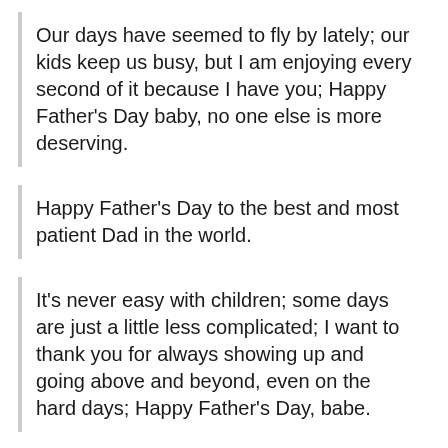Our days have seemed to fly by lately; our kids keep us busy, but I am enjoying every second of it because I have you; Happy Father's Day baby, no one else is more deserving.
Happy Father's Day to the best and most patient Dad in the world.
It's never easy with children; some days are just a little less complicated; I want to thank you for always showing up and going above and beyond, even on the hard days; Happy Father's Day, babe.
Some days I think the kids will attack you